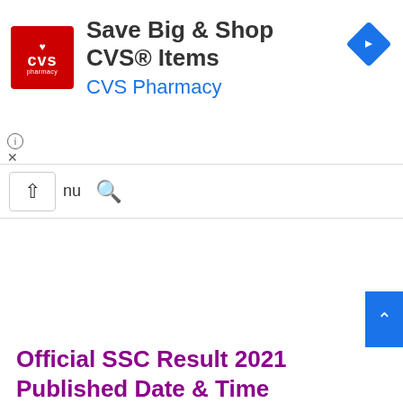[Figure (screenshot): CVS Pharmacy advertisement banner with red CVS logo, bold text 'Save Big & Shop CVS® Items', blue subtitle 'CVS Pharmacy', and a blue diamond navigation icon on the right. Info circle and X close button at bottom left of the ad.]
[Figure (screenshot): Website navigation bar showing an up-arrow button in a box, partial 'nu' menu text, and a search icon.]
[Figure (screenshot): Blue scroll-to-top button on the right side of the page with a white up-arrow chevron.]
Official SSC Result 2021 Published Date & Time